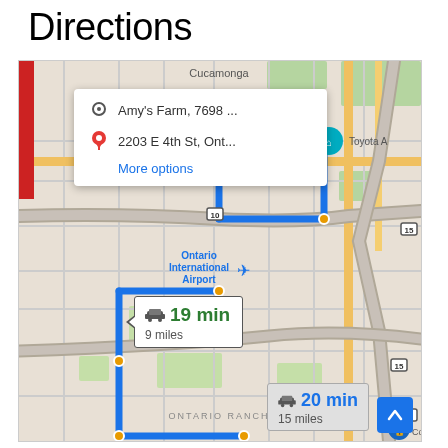Directions
[Figure (map): Google Maps screenshot showing driving directions from Amy's Farm, 7698... to 2203 E 4th St, Ont... in the Ontario, California area. Two routes are shown: Route 1 (19 min, 9 miles) and Route 2 (20 min, 15 miles). Map shows Ontario International Airport, Toyota A[rena], highway 10, 15, and 60, and the Ontario Ranch area. A direction search tooltip shows origin and destination with a 'More options' link.]